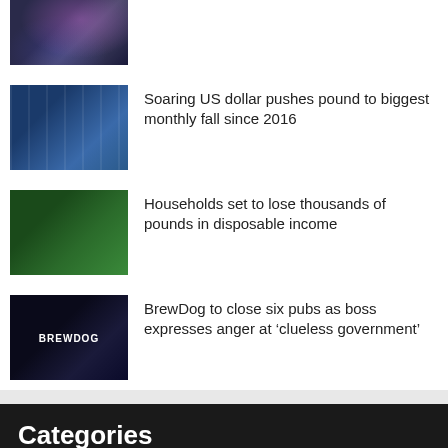[Figure (photo): Partial view of people with umbrellas in rainy city street at night, colorful lights reflecting on wet pavement]
[Figure (photo): British pound and US dollar banknotes overlapping, currency exchange concept]
Soaring US dollar pushes pound to biggest monthly fall since 2016
[Figure (photo): Person holding a green shopping basket filled with grocery products]
Households set to lose thousands of pounds in disposable income
[Figure (photo): BrewDog pub exterior at night with illuminated signage]
BrewDog to close six pubs as boss expresses anger at ‘clueless government’
Categories